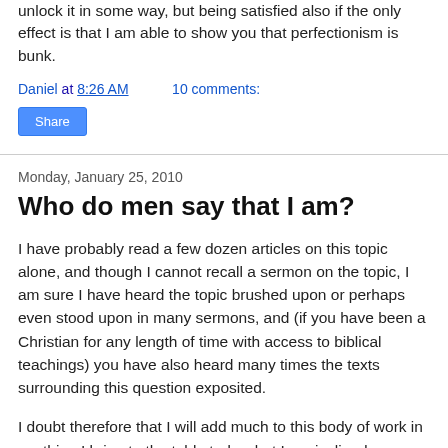unlock it in some way, but being satisfied also if the only effect is that I am able to show you that perfectionism is bunk.
Daniel at 8:26 AM   10 comments:
Share
Monday, January 25, 2010
Who do men say that I am?
I have probably read a few dozen articles on this topic alone, and though I cannot recall a sermon on the topic, I am sure I have heard the topic brushed upon or perhaps even stood upon in many sermons, and (if you have been a Christian for any length of time with access to biblical teachings) you have also heard many times the texts surrounding this question exposited.
I doubt therefore that I will add much to this body of work in anything I bring to the table today, but I am inclined never the less to repeat what others have said with greater clarity